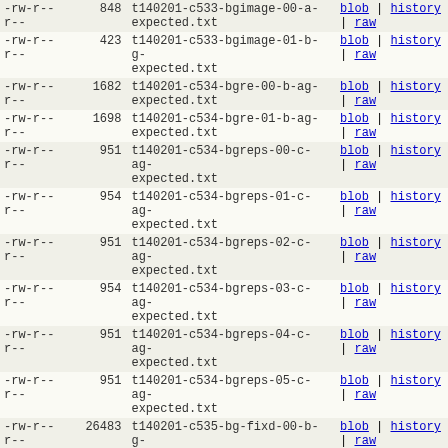| permissions | size | filename | links |
| --- | --- | --- | --- |
| -rw-r--
r-- | 848 | t140201-c533-bgimage-00-a-
expected.txt | blob | history | raw |
| -rw-r--
r-- | 423 | t140201-c533-bgimage-01-b-g-
expected.txt | blob | history | raw |
| -rw-r--
r-- | 1682 | t140201-c534-bgre-00-b-ag-
expected.txt | blob | history | raw |
| -rw-r--
r-- | 1698 | t140201-c534-bgre-01-b-ag-
expected.txt | blob | history | raw |
| -rw-r--
r-- | 951 | t140201-c534-bgreps-00-c-ag-
expected.txt | blob | history | raw |
| -rw-r--
r-- | 954 | t140201-c534-bgreps-01-c-ag-
expected.txt | blob | history | raw |
| -rw-r--
r-- | 951 | t140201-c534-bgreps-02-c-ag-
expected.txt | blob | history | raw |
| -rw-r--
r-- | 954 | t140201-c534-bgreps-03-c-ag-
expected.txt | blob | history | raw |
| -rw-r--
r-- | 951 | t140201-c534-bgreps-04-c-ag-
expected.txt | blob | history | raw |
| -rw-r--
r-- | 951 | t140201-c534-bgreps-05-c-ag-
expected.txt | blob | history | raw |
| -rw-r--
r-- | 26483 | t140201-c535-bg-fixd-00-b-g-
expected.txt | blob | history | raw |
| -rw-r--
r-- | 1890 | t140201-c536-bgpos-00-b-ag-
expected.txt | blob | history | raw |
| -rw-r--
r-- | 1954 | t140201-c536-bgpos-01-b-ag-
expected.txt | blob | history | raw |
| -rw-r--
r-- | 9915 | t140201-c537-bgfxps-00-c-ag-
expected.txt | blob | history | raw |